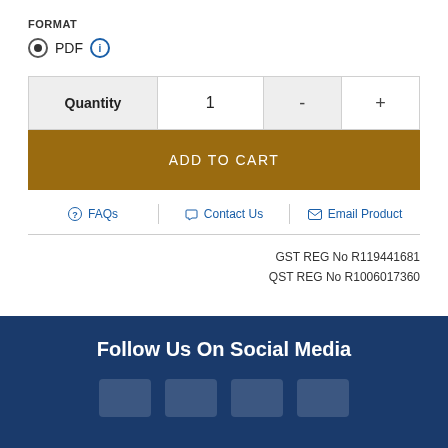FORMAT
PDF
| Quantity | 1 | - | + |
| --- | --- | --- | --- |
ADD TO CART
FAQs
Contact Us
Email Product
GST REG No R119441681
QST REG No R1006017360
Follow Us On Social Media